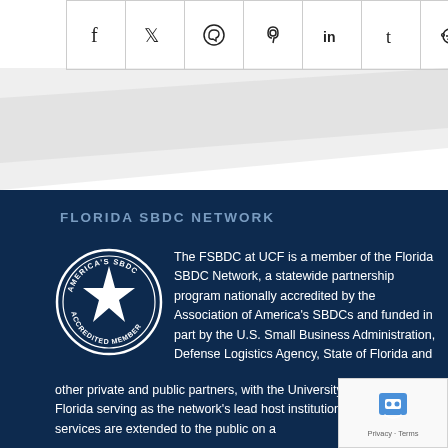[Figure (infographic): Social media sharing icons bar with Facebook, Twitter, WhatsApp, Pinterest, LinkedIn, Tumblr, Reddit, and Email icons in a horizontal row with borders]
[Figure (illustration): Diagonal gray decorative shape / background swoosh dividing white and dark blue sections]
FLORIDA SBDC NETWORK
[Figure (logo): America's SBDC Accredited Member circular badge/seal logo in white on dark blue background]
The FSBDC at UCF is a member of the Florida SBDC Network, a statewide partnership program nationally accredited by the Association of America's SBDCs and funded in part by the U.S. Small Business Administration, Defense Logistics Agency, State of Florida and other private and public partners, with the University of West Florida serving as the network's lead host institution. Florida SBDC services are extended to the public on a
[Figure (other): reCAPTCHA widget showing robot checkbox icon with Privacy and Terms links]